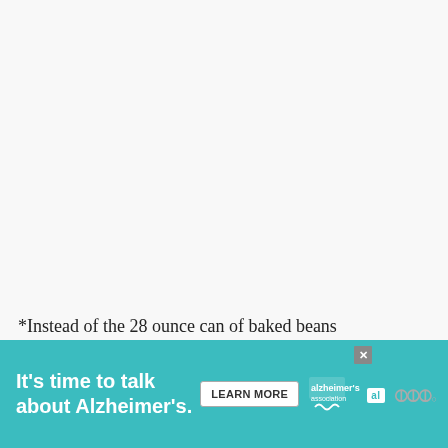*Instead of the 28 ounce can of baked beans
[Figure (other): Advertisement banner for Alzheimer's Association: 'It's time to talk about Alzheimer's.' with a LEARN MORE button, Alzheimer's Association logo, a close button, and a stylized 'www' logo on the right.]